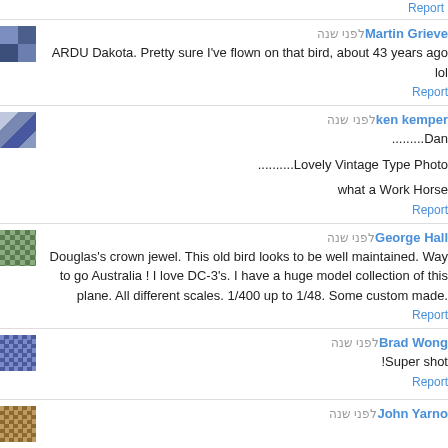Report
Martin Grieve · לפני שנה
ARDU Dakota. Pretty sure I've flown on that bird, about 43 years ago lol
Report
ken kemper · לפני שנה
..........Dan
..........Lovely Vintage Type Photo
what a Work Horse
Report
George Hall · לפני שנה
Douglas's crown jewel. This old bird looks to be well maintained. Way to go Australia ! I love DC-3's. I have a huge model collection of this plane. All different scales. 1/400 up to 1/48. Some custom made.
Report
Brad Wong · לפני שנה
Super shot!
Report
John Yarno · לפני שנה